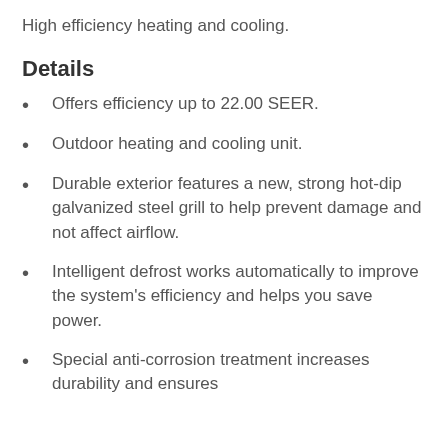High efficiency heating and cooling.
Details
Offers efficiency up to 22.00 SEER.
Outdoor heating and cooling unit.
Durable exterior features a new, strong hot-dip galvanized steel grill to help prevent damage and not affect airflow.
Intelligent defrost works automatically to improve the system's efficiency and helps you save power.
Special anti-corrosion treatment increases durability and ensures